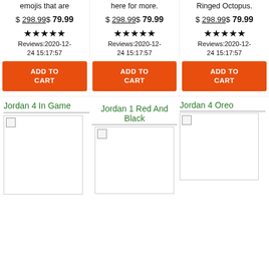emojis that are
here for more.
Ringed Octopus.
$ 298.99$ 79.99
$ 298.99$ 79.99
$ 298.99$ 79.99
★★★★★ Reviews:2020-12-24 15:17:57
★★★★★ Reviews:2020-12-24 15:17:57
★★★★★ Reviews:2020-12-24 15:17:57
ADD TO CART
ADD TO CART
ADD TO CART
Jordan 4 In Game
[Figure (photo): Product image placeholder for Jordan 4 In Game]
Jordan 1 Red And Black
[Figure (photo): Product image placeholder for Jordan 1 Red And Black]
Jordan 4 Oreo
[Figure (photo): Product image placeholder for Jordan 4 Oreo]